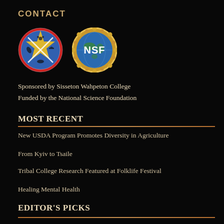CONTACT
[Figure (logo): Two logos side by side: Sisseton Wahpeton College circular badge with blue background, yellow star, and wildlife symbols; NSF (National Science Foundation) circular logo with globe and golden gear border]
Sponsored by Sisseton Wahpeton College
Funded by the National Science Foundation
MOST RECENT
New USDA Program Promotes Diversity in Agriculture
From Kyiv to Tsaile
Tribal College Research Featured at Folklife Festival
Healing Mental Health
EDITOR'S PICKS